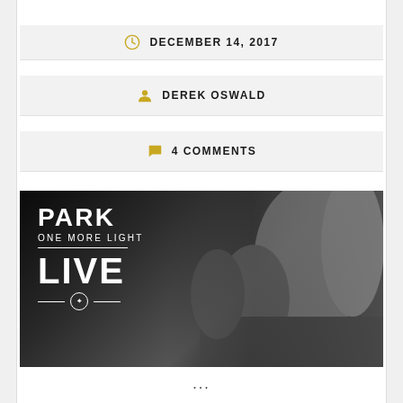DECEMBER 14, 2017
DEREK OSWALD
4 COMMENTS
[Figure (photo): Black and white concert photo with Linkin Park 'One More Light Live' album cover text overlay on the left side. Shows performers on stage leaning toward crowd.]